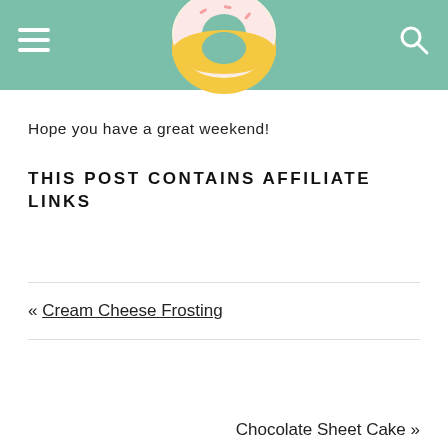Navigation header with hamburger menu, donut logo, and search icon
Hope you have a great weekend!
THIS POST CONTAINS AFFILIATE LINKS
« Cream Cheese Frosting
Chocolate Sheet Cake »